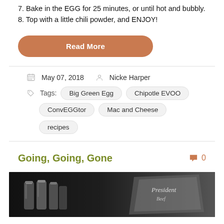7. Bake in the EGG for 25 minutes, or until hot and bubbly.
8. Top with a little chili powder, and ENJOY!
Read More
May 07, 2018  Nicke Harper
Tags: Big Green Egg  Chipotle EVOO  ConvEGGtor  Mac and Cheese  recipes
Going, Going, Gone
0
[Figure (photo): Dark photo of metallic containers/canisters and a bag with cursive text on a dark background]